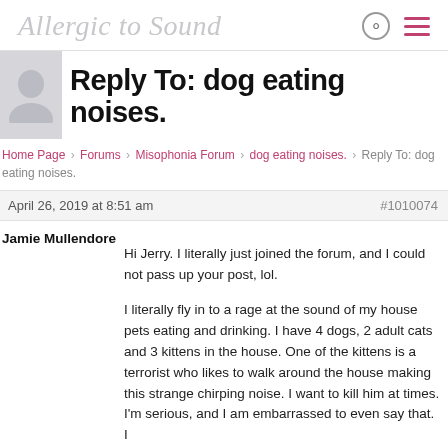Allergic to Sound
Reply To: dog eating noises.
Home Page › Forums › Misophonia Forum › dog eating noises. › Reply To: dog eating noises.
April 26, 2019 at 8:51 am   #1010074
Jamie Mullendore
Hi Jerry. I literally just joined the forum, and I could not pass up your post, lol.

I literally fly in to a rage at the sound of my house pets eating and drinking. I have 4 dogs, 2 adult cats and 3 kittens in the house. One of the kittens is a terrorist who likes to walk around the house making this strange chirping noise. I want to kill him at times. I'm serious, and I am embarrassed to even say that. I